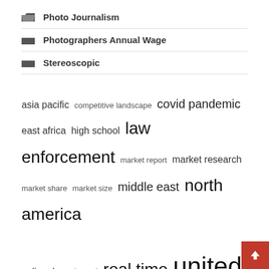Photo Journalism
Photographers Annual Wage
Stereoscopic
asia pacific competitive landscape covid pandemic east africa high school law enforcement market report market research market share market size middle east north america police department real time united states
Recent Posts
Father and Son Plus One Illegal Mini Gun Factory
Method to synthesize complex nanoframes for SERS biosensing